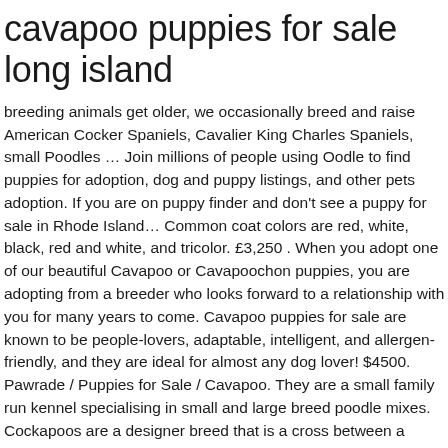cavapoo puppies for sale long island
breeding animals get older, we occasionally breed and raise American Cocker Spaniels, Cavalier King Charles Spaniels, small Poodles … Join millions of people using Oodle to find puppies for adoption, dog and puppy listings, and other pets adoption. If you are on puppy finder and don't see a puppy for sale in Rhode Island… Common coat colors are red, white, black, red and white, and tricolor. £3,250 . When you adopt one of our beautiful Cavapoo or Cavapoochon puppies, you are adopting from a breeder who looks forward to a relationship with you for many years to come. Cavapoo puppies for sale are known to be people-lovers, adaptable, intelligent, and allergen-friendly, and they are ideal for almost any dog lover! $4500. Pawrade / Puppies for Sale / Cavapoo. They are a small family run kennel specialising in small and large breed poodle mixes. Cockapoos are a designer breed that is a cross between a Cocker Spaniel and a Poodle. Our puppies come with companion registration. Often used as therapy dogs, these loving puppies … Come visit us in Huntington NY today. $4,000 Price. Also, be sure to check the Cavapoo Dog Breeder listings in our Dog Breeder … Click on the puppy